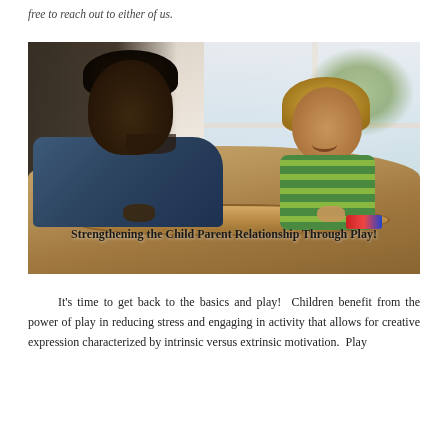free to reach out to either of us.
[Figure (photo): A father and young child playing together on the floor with a wooden toy train track, smiling at each other. Text overlay reads: Strengthening the Child Parent Relationship Through Play!]
Strengthening the Child Parent Relationship Through Play!
It's time to get back to the basics and play!  Children benefit from the power of play in reducing stress and engaging in activity that allows for creative expression characterized by intrinsic versus extrinsic motivation.  Play